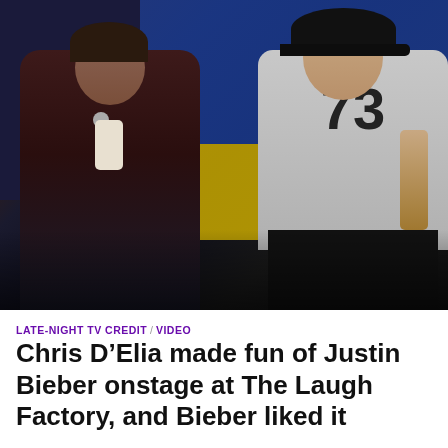[Figure (photo): Two men on stage at The Laugh Factory. Left person wears a dark maroon leather jacket and holds a microphone. Right person wears a gray sweatshirt with number 73, a black cap, and black pants. Stage background has blue and yellow sections.]
LATE-NIGHT TV CREDIT / VIDEO
Chris D'Elia made fun of Justin Bieber onstage at The Laugh Factory, and Bieber liked it